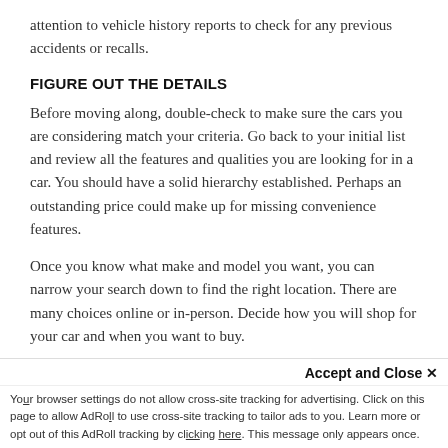attention to vehicle history reports to check for any previous accidents or recalls.
FIGURE OUT THE DETAILS
Before moving along, double-check to make sure the cars you are considering match your criteria. Go back to your initial list and review all the features and qualities you are looking for in a car. You should have a solid hierarchy established. Perhaps an outstanding price could make up for missing convenience features.
Once you know what make and model you want, you can narrow your search down to find the right location. There are many choices online or in-person. Decide how you will shop for your car and when you want to buy.
CONNECT WITH THE RIGHT DEALERSHIP
Now that you know where you want to buy a quality pre-owned car, reach out to the dealership. The skilled…
Accept and Close ✕
Your browser settings do not allow cross-site tracking for advertising. Click on this page to allow AdRoll to use cross-site tracking to tailor ads to you. Learn more or opt out of this AdRoll tracking by clicking here. This message only appears once.